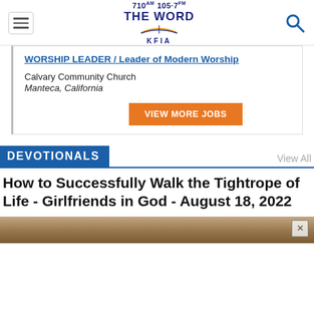710AM 105.7FM THE WORD KFIA
WORSHIP LEADER / Leader of Modern Worship
Calvary Community Church
Manteca, California
VIEW MORE JOBS
DEVOTIONALS
View All
How to Successfully Walk the Tightrope of Life - Girlfriends in God - August 18, 2022
[Figure (photo): Bottom image strip of article photo partially visible]